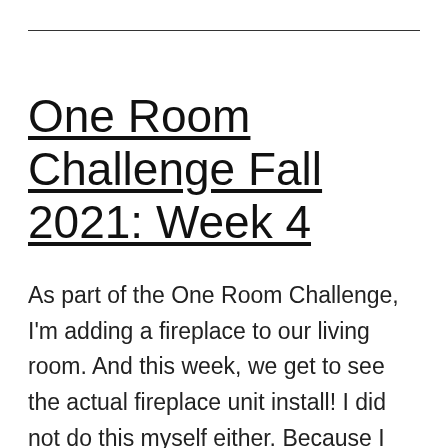One Room Challenge Fall 2021: Week 4
As part of the One Room Challenge, I'm adding a fireplace to our living room. And this week, we get to see the actual fireplace unit install! I did not do this myself either. Because I just…feel like a pro should handle installing something that's going to have fire burning in it